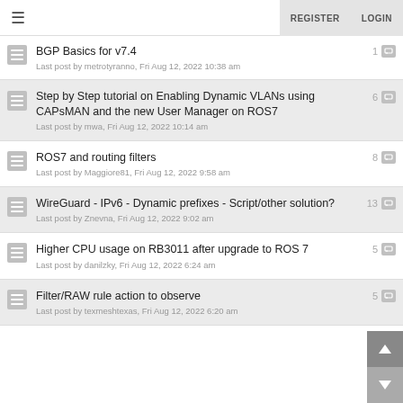≡  REGISTER  LOGIN
BGP Basics for v7.4
Last post by metrotyranno, Fri Aug 12, 2022 10:38 am
1
Step by Step tutorial on Enabling Dynamic VLANs using CAPsMAN and the new User Manager on ROS7
Last post by mwa, Fri Aug 12, 2022 10:14 am
6
ROS7 and routing filters
Last post by Maggiore81, Fri Aug 12, 2022 9:58 am
8
WireGuard - IPv6 - Dynamic prefixes - Script/other solution?
Last post by Znevna, Fri Aug 12, 2022 9:02 am
13
Higher CPU usage on RB3011 after upgrade to ROS 7
Last post by danilzky, Fri Aug 12, 2022 6:24 am
5
Filter/RAW rule action to observe
Last post by texmeshtexas, Fri Aug 12, 2022 6:20 am
5